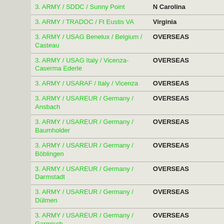| Installation | State/Location |
| --- | --- |
| 3. ARMY / SDDC / Sunny Point | N Carolina |
| 3. ARMY / TRADOC / Ft Eustis VA | Virginia |
| 3. ARMY / USAG Benelux / Belgium / Casteau | OVERSEAS |
| 3. ARMY / USAG Italy / Vicenza-Caserma Ederle | OVERSEAS |
| 3. ARMY / USARAF / Italy / Vicenza | OVERSEAS |
| 3. ARMY / USAREUR / Germany / Ansbach | OVERSEAS |
| 3. ARMY / USAREUR / Germany / Baumholder | OVERSEAS |
| 3. ARMY / USAREUR / Germany / Böblingen | OVERSEAS |
| 3. ARMY / USAREUR / Germany / Darmstadt | OVERSEAS |
| 3. ARMY / USAREUR / Germany / Dülmen | OVERSEAS |
| 3. ARMY / USAREUR / Germany / Garmisch | OVERSEAS |
| 3. ARMY / USAREUR / Germany / Germersheim | OVERSEAS |
| 3. ARMY / USAREUR / Germany / Grafenwöhr | OVERSEAS |
| 3. ARMY / USAREUR / Germany / Grünstadt | OVERSEAS |
| 3. ARMY / USAREUR / Germany / Hohenfels | OVERSEAS |
| 3. ARMY / USAREUR / Germany / Kaiserslautern | OVERSEAS |
| 3. ARMY / USAREUR / Germany / Landstuhl | OVERSEAS |